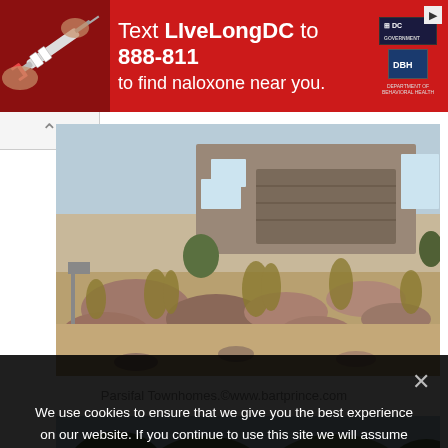[Figure (infographic): Red advertisement banner: 'Text LIveLongDC to 888-811 to find naloxone near you.' with DC and DBH logos on the right and a syringe image on the left. Close button top right.]
[Figure (photo): Exterior photo of Parsifal Townhomes showing a rock landscaped front yard with grasses, boulders, and a garage in the background.]
Parsifal Townhomes.©www.bartprince.com
[Figure (photo): Partial view of a second exterior photo showing trees and a light sky, partially obscured by cookie consent overlay.]
We use cookies to ensure that we give you the best experience on our website. If you continue to use this site we will assume that you are happy with it.
OK